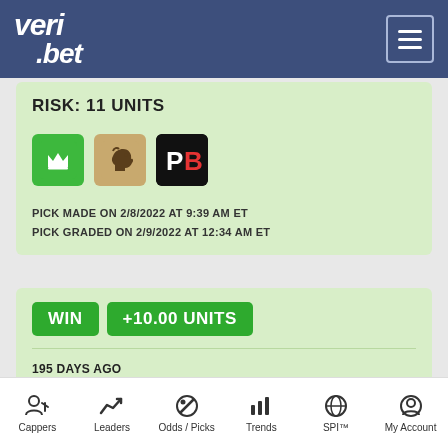veri.bet
RISK: 11 UNITS
[Figure (logo): DraftKings, FanDuel, and PointsBet sportsbook icons]
PICK MADE ON 2/8/2022 AT 9:39 AM ET
PICK GRADED ON 2/9/2022 AT 12:34 AM ET
WIN  +10.00 UNITS
195 DAYS AGO
TUE, FEB 8, 2022
11:00 PM ET
LEAGUE: NCAAB
Cappers  Leaders  Odds / Picks  Trends  SPI™  My Account